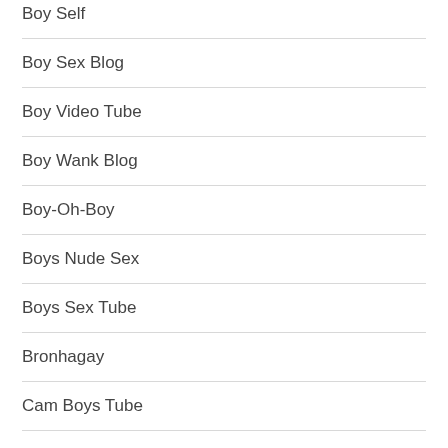Boy Self
Boy Sex Blog
Boy Video Tube
Boy Wank Blog
Boy-Oh-Boy
Boys Nude Sex
Boys Sex Tube
Bronhagay
Cam Boys Tube
Cam Gay Boys